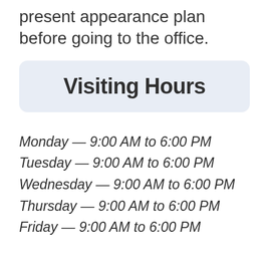present appearance plan before going to the office.
Visiting Hours
Monday — 9:00 AM to 6:00 PM
Tuesday — 9:00 AM to 6:00 PM
Wednesday — 9:00 AM to 6:00 PM
Thursday — 9:00 AM to 6:00 PM
Friday — 9:00 AM to 6:00 PM